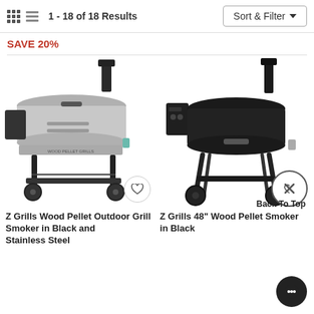1 - 18 of 18 Results  Sort & Filter
SAVE 20%
[Figure (photo): Z Grills Wood Pellet Outdoor Grill Smoker in Black and Stainless Steel product photo]
[Figure (photo): Z Grills 48" Wood Pellet Smoker in Black product photo]
Back To Top
Z Grills Wood Pellet Outdoor Grill Smoker in Black and Stainless Steel
Z Grills 48" Wood Pellet Smoker in Black